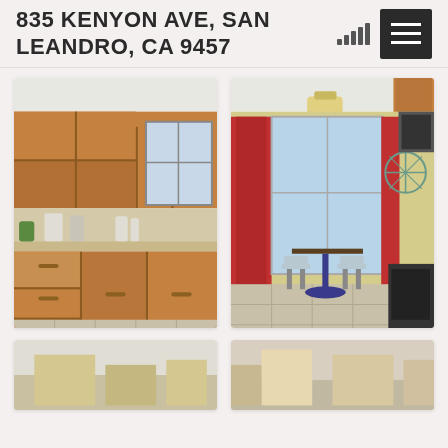835 KENYON AVE, SAN LEANDRO, CA 94577
[Figure (photo): Kitchen with medium wood cabinets, tile backsplash, and light tile flooring]
[Figure (photo): Dining area with bar table, stools, red curtains, and decorative wall art]
[Figure (photo): Bottom-left partial photo]
[Figure (photo): Bottom-right partial photo]